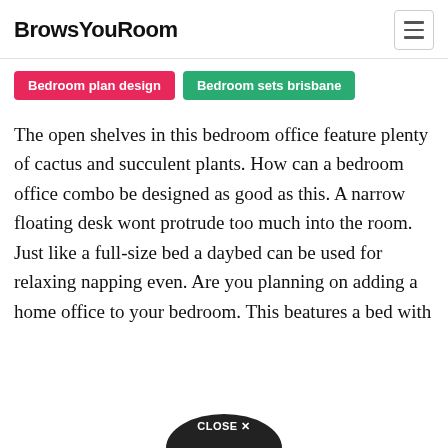BrowsYouRoom
Bedroom plan design
Bedroom sets brisbane
The open shelves in this bedroom office feature plenty of cactus and succulent plants. How can a bedroom office combo be designed as good as this. A narrow floating desk wont protrude too much into the room. Just like a full-size bed a daybed can be used for relaxing napping even. Are you planning on adding a home office to your bedroom. This be[CLOSE X]atures a bed with